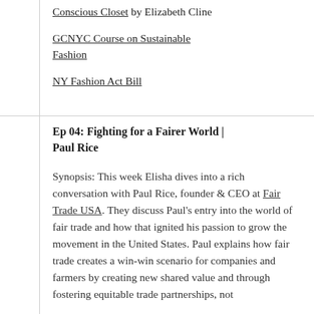Conscious Closet by Elizabeth Cline
GCNYC Course on Sustainable Fashion
NY Fashion Act Bill
Ep 04: Fighting for a Fairer World | Paul Rice
Synopsis: This week Elisha dives into a rich conversation with Paul Rice, founder & CEO at Fair Trade USA. They discuss Paul's entry into the world of fair trade and how that ignited his passion to grow the movement in the United States. Paul explains how fair trade creates a win-win scenario for companies and farmers by creating new shared value and through fostering equitable trade partnerships, not